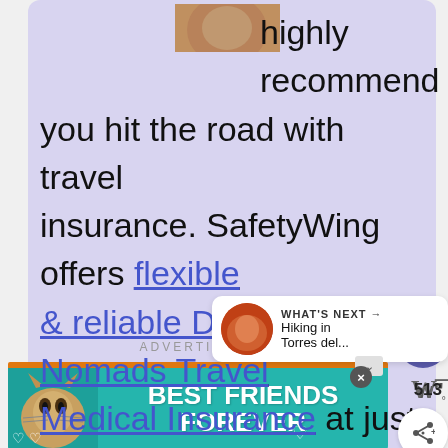[Figure (photo): Partial view of a cat photo at the top of a lavender-colored content box]
highly recommend you hit the road with travel insurance. SafetyWing offers flexible & reliable Digital Nomads Travel Medical Insurance at just a third of the price of similar competitor plans.
[Figure (infographic): WHAT'S NEXT arrow with thumbnail image and text: Hiking in Torres del...]
ADVERTISEMENT
[Figure (photo): Advertisement banner with teal background, cat image, and text BEST FRIENDS FOREVER]